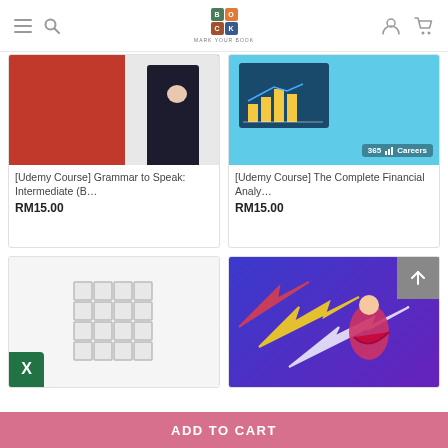Mark Your Book — navigation header with logo, search, user, cart icons
[Figure (screenshot): Product card image: woman in black against red/white background — Grammar course thumbnail]
[Udemy Course] Grammar to Speak: Intermediate (B…
RM15.00
[Figure (screenshot): Product card image: laptop showing financial charts, '365 Careers' badge, blue background]
[Udemy Course] The Complete Financial Analy…
RM15.00
[Figure (screenshot): Product card image: Rubik's cube on white background with Excel icon]
[Figure (screenshot): Product card image: colorful illustration of person flying with arrows on purple/blue background]
ADD TO CART